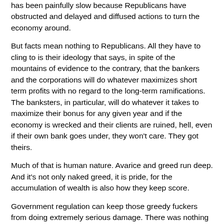has been painfully slow because Republicans have obstructed and delayed and diffused actions to turn the economy around.
But facts mean nothing to Republicans. All they have to cling to is their ideology that says, in spite of the mountains of evidence to the contrary, that the bankers and the corporations will do whatever maximizes short term profits with no regard to the long-term ramifications. The banksters, in particular, will do whatever it takes to maximize their bonus for any given year and if the economy is wrecked and their clients are ruined, hell, even if their own bank goes under, they won't care. They got theirs.
Much of that is human nature. Avarice and greed run deep. And it's not only naked greed, it is pride, for the accumulation of wealth is also how they keep score.
Government regulation can keep those greedy fuckers from doing extremely serious damage. There was nothing about the recession that was unforeseeable to those who should have been watching the financial thieves.